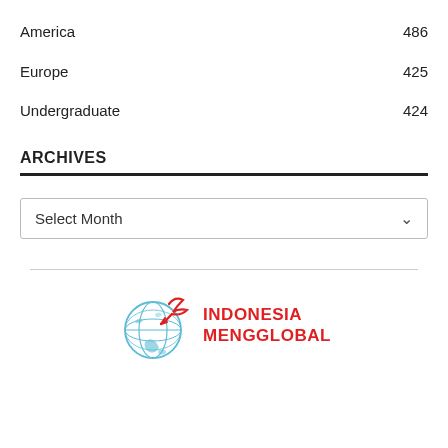America   486
Europe   425
Undergraduate   424
ARCHIVES
Select Month
[Figure (logo): Indonesia Mengglobal logo with globe illustration and red bird/arrow, text reads INDONESIA MENGGLOBAL in red]